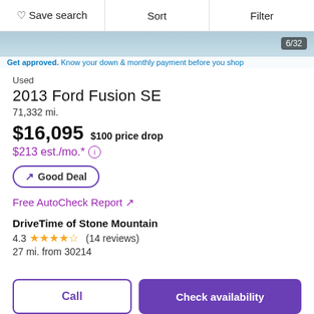Save search  Sort  Filter
[Figure (screenshot): Car listing image strip with navigation dots, 6/32 counter, and 'Get approved. Know your down & monthly payment before you shop' banner]
Used
2013 Ford Fusion SE
71,332 mi.
$16,095  $100 price drop
$213 est./mo.*
Good Deal
Free AutoCheck Report ↗
DriveTime of Stone Mountain
4.3 ★★★★½ (14 reviews)
27 mi. from 30214
Call  Check availability